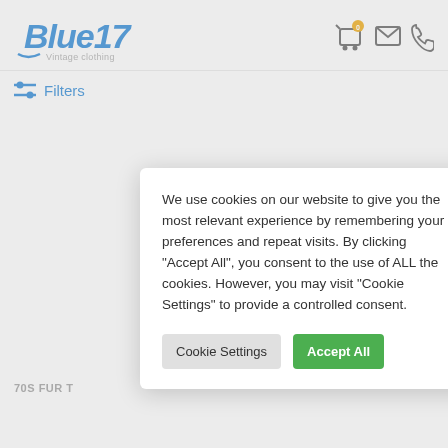[Figure (logo): Blue17 Vintage Clothing logo - italic bold blue text with '17' numeral and 'Vintage clothing' subtitle]
[Figure (infographic): Header icons: shopping cart with badge '0', envelope/mail icon, phone icon]
Filters
We use cookies on our website to give you the most relevant experience by remembering your preferences and repeat visits. By clicking "Accept All", you consent to the use of ALL the cookies. However, you may visit "Cookie Settings" to provide a controlled consent.
Cookie Settings
Accept All
70S FUR T